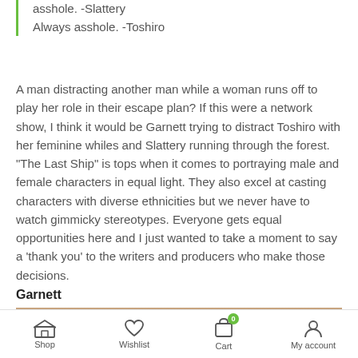asshole. -Slattery
Always asshole.  -Toshiro
A man distracting another man while a woman runs off to play her role in their escape plan? If this were a network show, I think it would be Garnett trying to distract Toshiro with her feminine whiles and Slattery running through the forest. "The Last Ship" is tops when it comes to portraying male and female characters in equal light. They also excel at casting characters with diverse ethnicities but we never have to watch gimmicky stereotypes. Everyone gets equal opportunities here and I just wanted to take a moment to say a 'thank you' to the writers and producers who make those decisions.
Garnett
[Figure (photo): Group photo of people, partially visible, showing heads and upper bodies against a wooden background.]
Shop   Wishlist   Cart 0   My account